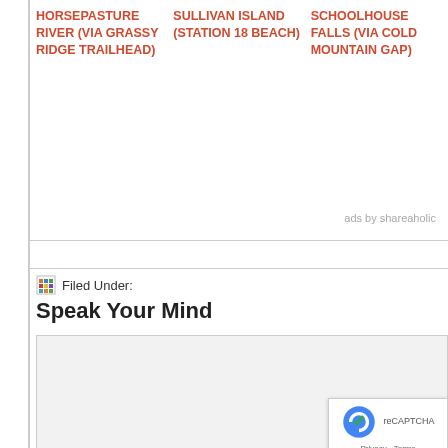HORSEPASTURE RIVER (VIA GRASSY RIDGE TRAILHEAD)
SULLIVAN ISLAND (STATION 18 BEACH)
SCHOOLHOUSE FALLS (VIA COLD MOUNTAIN GAP)
ads by shareaholic
Filed Under:
Speak Your Mind
Name *
Email *